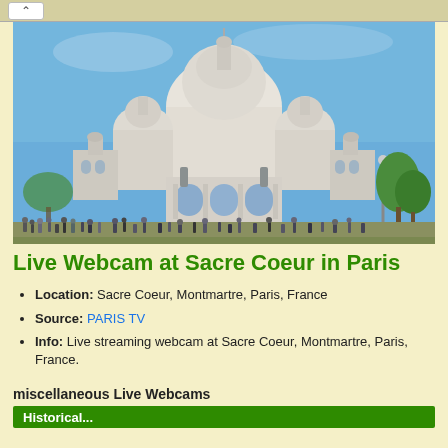Browser navigation bar with back button
[Figure (photo): Photograph of Sacre Coeur basilica in Montmartre, Paris. White stone domed church with multiple spires against blue sky. Crowds of tourists visible at the base along with trees and statues.]
Live Webcam at Sacre Coeur in Paris
Location: Sacre Coeur, Montmartre, Paris, France
Source: PARIS TV
Info: Live streaming webcam at Sacre Coeur, Montmartre, Paris, France.
miscellaneous Live Webcams
Historical...